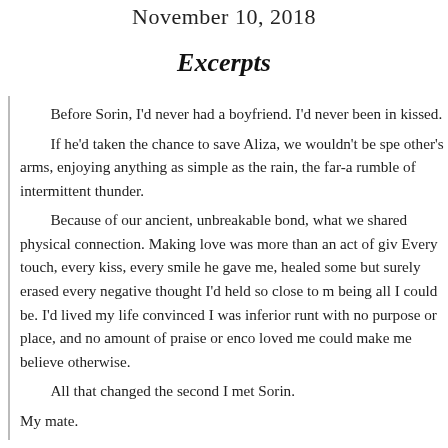November 10, 2018
Excerpts
Before Sorin, I'd never had a boyfriend. I'd never been in kissed.

If he'd taken the chance to save Aliza, we wouldn't be spe other's arms, enjoying anything as simple as the rain, the far-a rumble of intermittent thunder.

Because of our ancient, unbreakable bond, what we shared physical connection. Making love was more than an act of giv Every touch, every kiss, every smile he gave me, healed some but surely erased every negative thought I'd held so close to m being all I could be. I'd lived my life convinced I was inferior runt with no purpose or place, and no amount of praise or enco loved me could make me believe otherwise.

All that changed the second I met Sorin.

My mate.